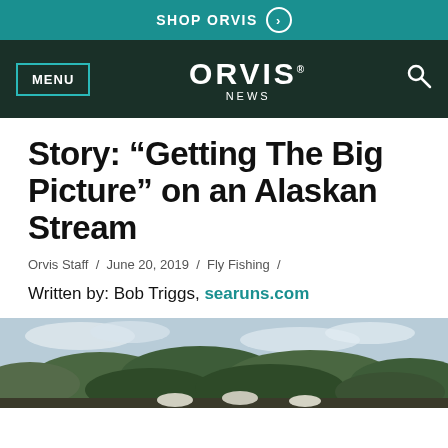SHOP ORVIS
ORVIS NEWS
Story: “Getting The Big Picture” on an Alaskan Stream
Orvis Staff / June 20, 2019 / Fly Fishing /
Written by: Bob Triggs, searuns.com
[Figure (photo): Photo of people outdoors in Alaska near a stream with bushes and cloudy sky in background]